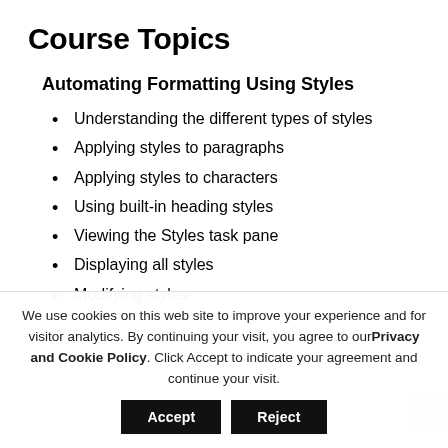Course Topics
Automating Formatting Using Styles
Understanding the different types of styles
Applying styles to paragraphs
Applying styles to characters
Using built-in heading styles
Viewing the Styles task pane
Displaying all styles
Modifying styles
We use cookies on this web site to improve your experience and for visitor analytics. By continuing your visit, you agree to our Privacy and Cookie Policy. Click Accept to indicate your agreement and continue your visit.